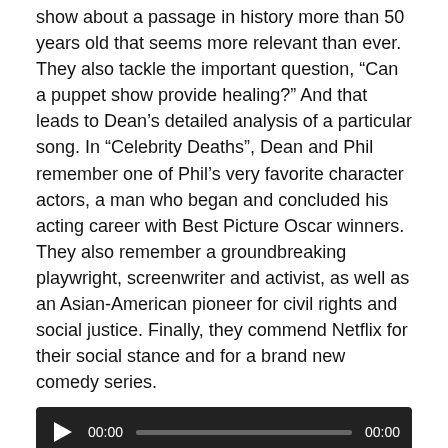show about a passage in history more than 50 years old that seems more relevant than ever. They also tackle the important question, “Can a puppet show provide healing?” And that leads to Dean’s detailed analysis of a particular song. In “Celebrity Deaths”, Dean and Phil remember one of Phil’s very favorite character actors, a man who began and concluded his acting career with Best Picture Oscar winners. They also remember a groundbreaking playwright, screenwriter and activist, as well as an Asian-American pioneer for civil rights and social justice. Finally, they commend Netflix for their social stance and for a brand new comedy series.
[Figure (other): Audio player with play button, time display 00:00, progress bar, and end time 00:00]
Podcast: Play in new window | Download
Subscribe: RSS
Tagged ACLU, acting, Anthony James, Apollo 11, Asian Pacific American Heritage Month, astronauts, Black Lives Matter, Bob Baker, Bob Baker Marionette Theater, catharsis, celebrity